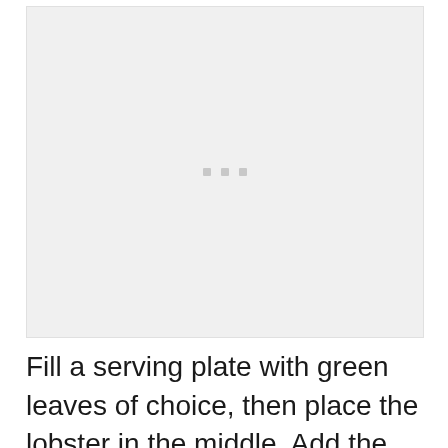[Figure (photo): A photo placeholder showing a light gray rectangle with three small gray dots centered in the middle, indicating an image that has not loaded.]
Fill a serving plate with green leaves of choice, then place the lobster in the middle. Add the mayo and decorate with lemon slices or wedges.